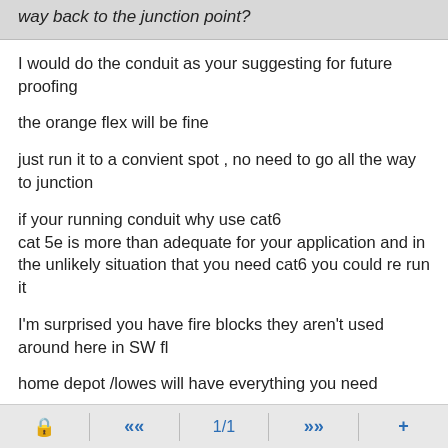way back to the junction point?
I would do the conduit as your suggesting for future proofing
the orange flex will be fine
just run it to a convient spot , no need to go all the way to junction
if your running conduit why use cat6
cat 5e is more than adequate for your application and in the unlikely situation that you need cat6 you could re run it
I'm surprised you have fire blocks they aren't used around here in SW fl
home depot /lowes will have everything you need
sounds like you have a solid plan in place
🔒  «  1/1  »  +